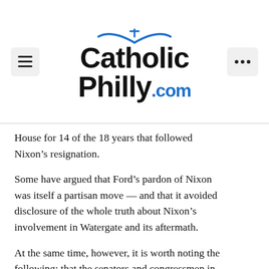CatholicPhilly.com
House for 14 of the 18 years that followed Nixon’s resignation.
Some have argued that Ford’s pardon of Nixon was itself a partisan move — and that it avoided disclosure of the whole truth about Nixon’s involvement in Watergate and its aftermath.
At the same time, however, it is worth noting the following: that the senators and congressmen in Nixon’s own party did not offer a timorous fealty to him, and this made justice a possibility; that Nixon accepted responsibility, if not for his actions, then for their impact on the nation; and that some of Nixon’s political allies and appointees — including the future vice president Nelson Rockefeller, the future senator Daniel Patrick Moynihan, and the future Congressman...